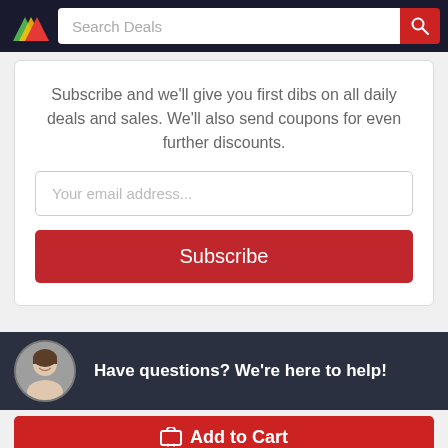Search Deals
Subscribe and we'll give you first dibs on all daily deals and sales. We'll also send coupons for even further discounts.
Your email address...
Subscribe
Have questions? We're here to help!
Add to Cart